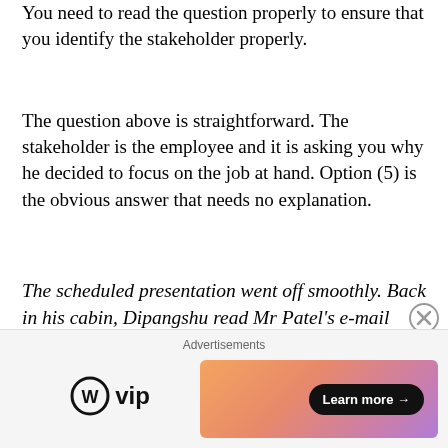You need to read the question properly to ensure that you identify the stakeholder properly.
The question above is straightforward. The stakeholder is the employee and it is asking you why he decided to focus on the job at hand. Option (5) is the obvious answer that needs no explanation.
The scheduled presentation went off smoothly. Back in his cabin, Dipangshu read Mr Patel’s e-mail once more and pondered over it. During the last meeting, he tried hard to put forward his explanation but Mr Patel had not allowed him to speak. Dipangshu was thinking of meeting Mr Patel once again but was doubtful that would help. Incidentally, he had a job offer from a start-up with a comparable salary. If
Advertisements